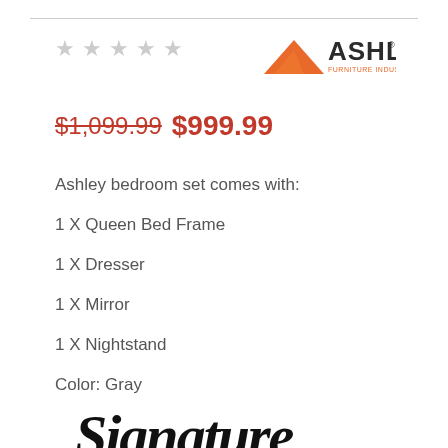[Figure (logo): Ashley Furniture Industries Inc. logo with orange triangle and dark text]
★★★★★ (empty stars / ratings)
$1,099.99 $999.99
Ashley bedroom set comes with:
1 X Queen Bed Frame
1 X Dresser
1 X Mirror
1 X Nightstand
Color: Gray
[Figure (illustration): Signature script logo text at bottom of page]